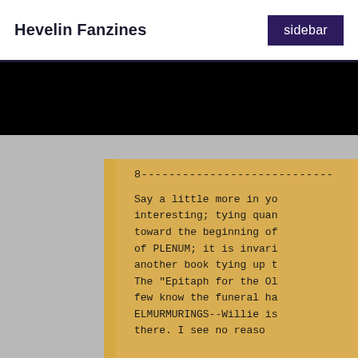Hevelin Fanzines | sidebar
[Figure (photo): Photograph of a yellowed/tan fanzine booklet lying on a gray fabric surface. The top-right corner of the fanzine page is visible, showing typewritten text on page 8. The text reads: '8---...' (dashed line), then 'Say a little more in yo... / interesting; tying quan... / toward the beginning of / of PLENUM; it is invari... / another book tying up t... / The "Epitaph for the Ol... / few know the funeral ha... / ELMURMURINGS--Willie is / there. I see no reaso...']